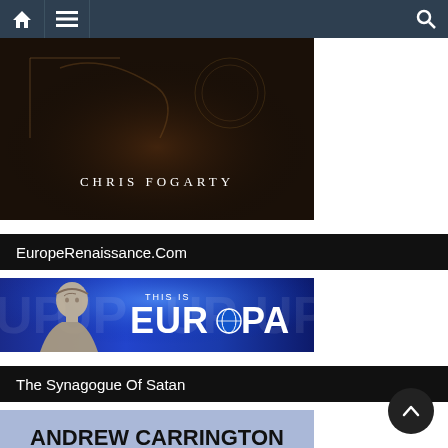[Figure (screenshot): Website navigation bar with home icon, hamburger menu icon, and search icon on dark slate background]
[Figure (photo): Dark book cover with author name 'CHRIS FOGARTY' in white spaced serif text over a dark brown background with decorative elements]
EuropeRenaissance.Com
[Figure (illustration): This Is Europa banner image with blue smoky background, classical statue bust on left, bold white text 'THIS IS EUROPA' with Europa text having a globe as the 'O']
The Synagogue Of Satan
[Figure (illustration): Light blue book cover preview showing bold black uppercase text 'ANDREW CARRINGTON HITCHCOCK'S']